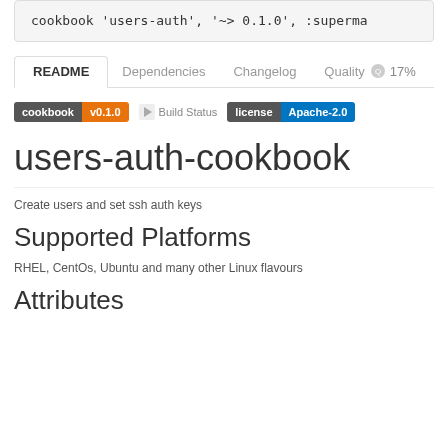cookbook 'users-auth', '~> 0.1.0', :superma
README  Dependencies  Changelog  Quality 17%
[Figure (infographic): Badges: cookbook v0.1.0 (orange), Build Status (image with text), license Apache-2.0 (blue)]
users-auth-cookbook
Create users and set ssh auth keys
Supported Platforms
RHEL, CentOs, Ubuntu and many other Linux flavours
Attributes